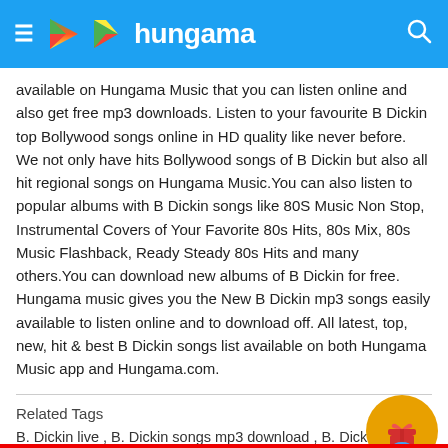hungama
available on Hungama Music that you can listen online and also get free mp3 downloads. Listen to your favourite B Dickin top Bollywood songs online in HD quality like never before. We not only have hits Bollywood songs of B Dickin but also all hit regional songs on Hungama Music.You can also listen to popular albums with B Dickin songs like 80S Music Non Stop, Instrumental Covers of Your Favorite 80s Hits, 80s Mix, 80s Music Flashback, Ready Steady 80s Hits and many others.You can download new albums of B Dickin for free. Hungama music gives you the New B Dickin mp3 songs easily available to listen online and to download off. All latest, top, new, hit & best B Dickin songs list available on both Hungama Music app and Hungama.com.
Related Tags
B. Dickin live , B. Dickin songs mp3 download , B. Dickin a to z mp3 s... download B. Dickin songs , download songs of B. Dickin , B. Dickin mashup mp3 , B. Dickin indian idol , B. Dickin new song , B. Dickin mp3 download , songs of B. Dickin download